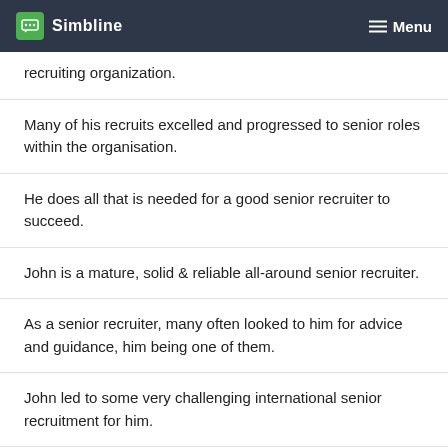Simbline   Menu
recruiting organization.
Many of his recruits excelled and progressed to senior roles within the organisation.
He does all that is needed for a good senior recruiter to succeed.
John is a mature, solid & reliable all-around senior recruiter.
As a senior recruiter, many often looked to him for advice and guidance, him being one of them.
John led to some very challenging international senior recruitment for him.